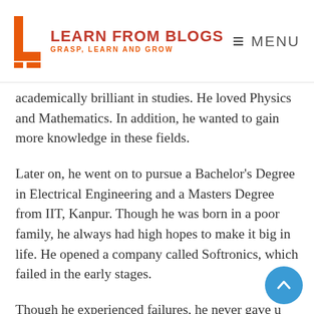LEARN FROM BLOGS — GRASP, LEARN AND GROW | MENU
academically brilliant in studies. He loved Physics and Mathematics. In addition, he wanted to gain more knowledge in these fields.
Later on, he went on to pursue a Bachelor's Degree in Electrical Engineering and a Masters Degree from IIT, Kanpur. Though he was born in a poor family, he always had high hopes to make it big in life. He opened a company called Softronics, which failed in the early stages.
Though he experienced failures, he never gave up on his dreams. In 1981, he, together with six other professionals, created a company called Infosys. Today, Narayana Murthy is listed as one of the